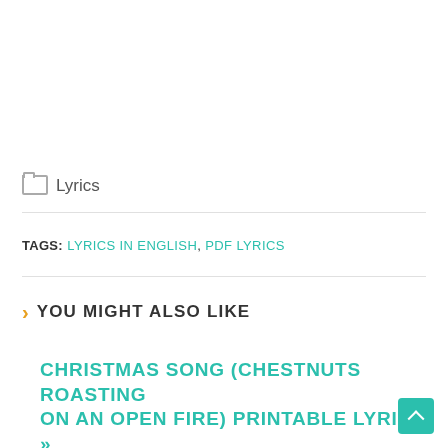Lyrics
TAGS: LYRICS IN ENGLISH, PDF LYRICS
YOU MIGHT ALSO LIKE
CHRISTMAS SONG (CHESTNUTS ROASTING ON AN OPEN FIRE) PRINTABLE LYRICS »